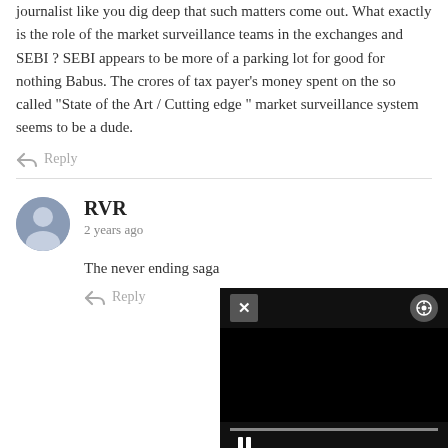journalist like you dig deep that such matters come out. What exactly is the role of the market surveillance teams in the exchanges and SEBI ? SEBI appears to be more of a parking lot for good for nothing Babus. The crores of tax payer's money spent on the so called "State of the Art / Cutting edge " market surveillance system seems to be a dude.
Reply
RVR
2 years ago
The never ending saga
Reply
[Figure (screenshot): Video player overlay with black background, close button (X), settings icon, progress bar, and pause button (two vertical bars)]